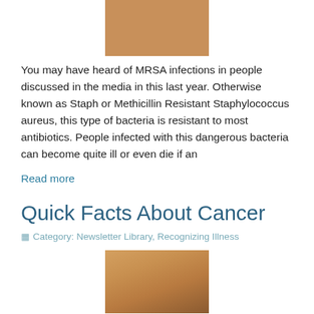[Figure (photo): Close-up photo of animal fur (dog), brownish color, top portion of image visible at top of page]
You may have heard of MRSA infections in people discussed in the media in this last year. Otherwise known as Staph or Methicillin Resistant Staphylococcus aureus, this type of bacteria is resistant to most antibiotics. People infected with this dangerous bacteria can become quite ill or even die if an
Read more
Quick Facts About Cancer
Category: Newsletter Library, Recognizing Illness
[Figure (photo): Photo of a sleeping golden/tan dog, head resting, eyes closed, bottom portion of page]